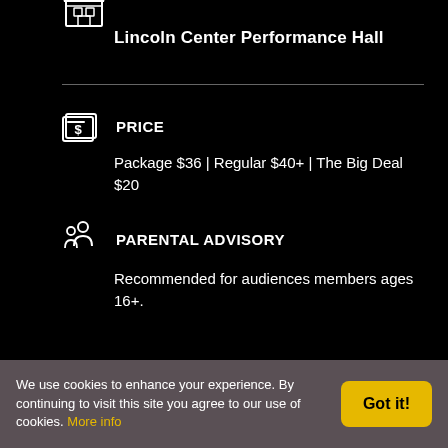[Figure (illustration): Building/venue icon (partial, cropped at top)]
Lincoln Center Performance Hall
PRICE
Package $36 | Regular $40+ | The Big Deal $20
PARENTAL ADVISORY
Recommended for audiences members ages 16+.
We use cookies to enhance your experience. By continuing to visit this site you agree to our use of cookies. More info